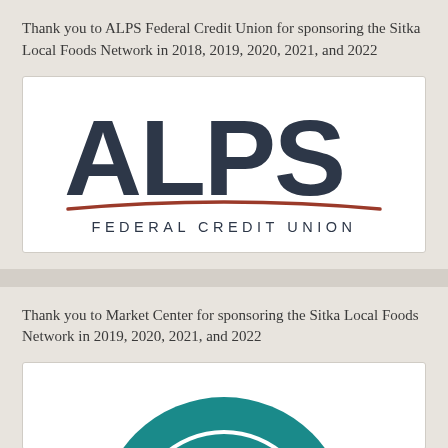Thank you to ALPS Federal Credit Union for sponsoring the Sitka Local Foods Network in 2018, 2019, 2020, 2021, and 2022
[Figure (logo): ALPS Federal Credit Union logo — large bold dark navy letters 'ALPS' with a rust-red arc underline, and 'FEDERAL CREDIT UNION' in spaced caps below]
Thank you to Market Center for sponsoring the Sitka Local Foods Network in 2019, 2020, 2021, and 2022
[Figure (logo): Market Center / Heart of Sitka circular logo — teal arc with white text 'HEART OF S...' visible at top, partial view]